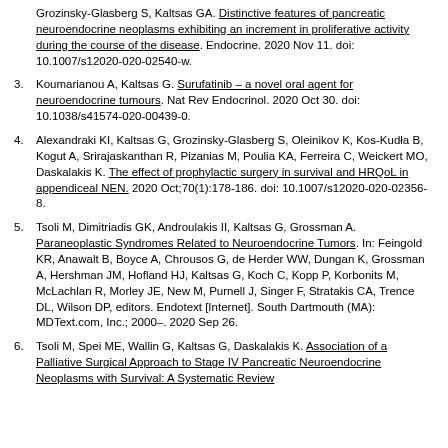Grozinsky-Glasberg S, Kaltsas GA. Distinctive features of pancreatic neuroendocrine neoplasms exhibiting an increment in proliferative activity during the course of the disease. Endocrine. 2020 Nov 11. doi: 10.1007/s12020-020-02540-w.
3. Koumarianou A, Kaltsas G. Surufatinib – a novel oral agent for neuroendocrine tumours. Nat Rev Endocrinol. 2020 Oct 30. doi: 10.1038/s41574-020-00439-0.
4. Alexandraki KI, Kaltsas G, Grozinsky-Glasberg S, Oleinikov K, Kos-Kudła B, Kogut A, Srirajaskanthan R, Pizanias M, Poulia KA, Ferreira C, Weickert MO, Daskalakis K. The effect of prophylactic surgery in survival and HRQoL in appendiceal NEN. 2020 Oct;70(1):178-186. doi: 10.1007/s12020-020-02356-8.
5. Tsoli M, Dimitriadis GK, Androulakis II, Kaltsas G, Grossman A. Paraneoplastic Syndromes Related to Neuroendocrine Tumors. In: Feingold KR, Anawalt B, Boyce A, Chrousos G, de Herder WW, Dungan K, Grossman A, Hershman JM, Hofland HJ, Kaltsas G, Koch C, Kopp P, Korbonits M, McLachlan R, Morley JE, New M, Purnell J, Singer F, Stratakis CA, Trence DL, Wilson DP, editors. Endotext [Internet]. South Dartmouth (MA): MDText.com, Inc.; 2000–. 2020 Sep 26.
6. Tsoli M, Spei ME, Wallin G, Kaltsas G, Daskalakis K. Association of a Palliative Surgical Approach to Stage IV Pancreatic Neuroendocrine Neoplasms with Survival: A Systematic Review